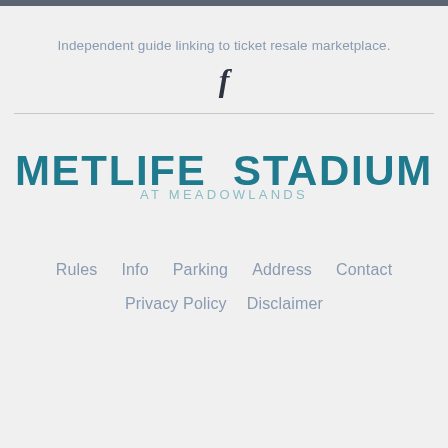Independent guide linking to ticket resale marketplace.
[Figure (logo): Facebook 'f' logo icon in dark color]
[Figure (logo): MetLife Stadium at Meadowlands logo — 'METLIFE STADIUM' in large teal bold text, 'AT MEADOWLANDS' in lighter teal smaller text below]
Rules   Info   Parking   Address   Contact
Privacy Policy   Disclaimer